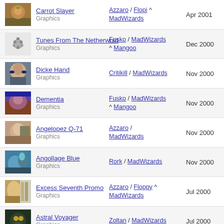Carrot Slayer | Graphics | Azzaro / Flopi ^ MadWizards | Apr 2001
Tunes From The Netherwold | Graphics | Fusko / MadWizards ^ Mangoo | Dec 2000
Dicke Hand | Graphics | Critikill / MadWizards | Nov 2000
Dementia | Graphics | Fusko / MadWizards ^ Mangoo | Nov 2000
Angelopez Q-71 | Graphics | Azzaro / MadWizards | Nov 2000
Angollage Blue | Graphics | Rork / MadWizards | Nov 2000
Excess Seventh Promo | Graphics | Azzaro / Floppy ^ MadWizards | Jul 2000
Astral Voyager | Graphics | Zoltan / MadWizards | Jul 2000
Witch Thoughts | Graphics | Fusko / MadWizards | Apr 2000